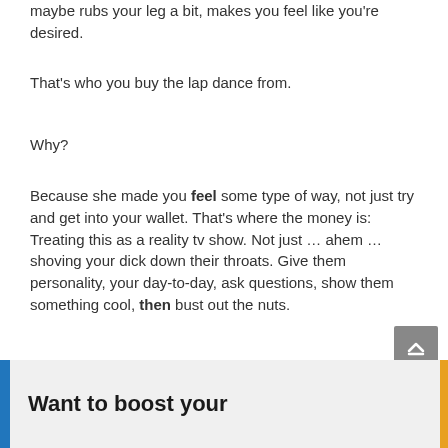maybe rubs your leg a bit, makes you feel like you're desired.
That's who you buy the lap dance from.
Why?
Because she made you feel some type of way, not just try and get into your wallet. That's where the money is: Treating this as a reality tv show. Not just … ahem … shoving your dick down their throats. Give them personality, your day-to-day, ask questions, show them something cool, then bust out the nuts.
Want to boost your